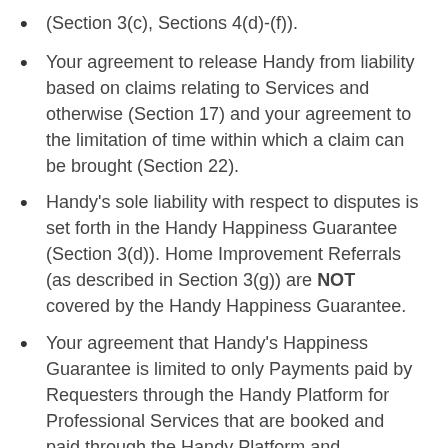(Section 3(c), Sections 4(d)-(f)).
Your agreement to release Handy from liability based on claims relating to Services and otherwise (Section 17) and your agreement to the limitation of time within which a claim can be brought (Section 22).
Handy's sole liability with respect to disputes is set forth in the Handy Happiness Guarantee (Section 3(d)). Home Improvement Referrals (as described in Section 3(g)) are NOT covered by the Handy Happiness Guarantee.
Your agreement that Handy's Happiness Guarantee is limited to only Payments paid by Requesters through the Handy Platform for Professional Services that are booked and paid through the Handy Platform and…